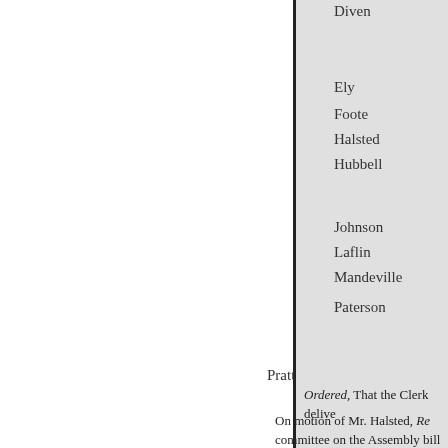Diven
Ely
Foote
Halsted
Hubbell
Johnson
Laflin
Mandeville
Paterson
Pratt
Ordered, That the Clerk delive
On motion of Mr. Halsted, Re committee on the Assembly bill Woodford " be reconsidered an